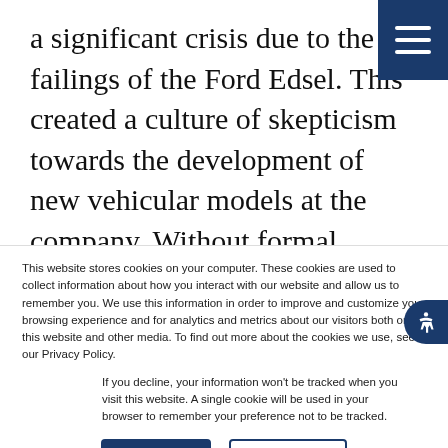a significant crisis due to the failings of the Ford Edsel. This created a culture of skepticism towards the development of new vehicular models at the company. Without formal approval, Frey met with leading engineers and designers to develop a cost-efficient and
[Figure (other): Hamburger menu icon: three horizontal white lines on dark blue background, top-right corner]
This website stores cookies on your computer. These cookies are used to collect information about how you interact with our website and allow us to remember you. We use this information in order to improve and customize your browsing experience and for analytics and metrics about our visitors both on this website and other media. To find out more about the cookies we use, see our Privacy Policy.
If you decline, your information won't be tracked when you visit this website. A single cookie will be used in your browser to remember your preference not to be tracked.
Accept
Decline